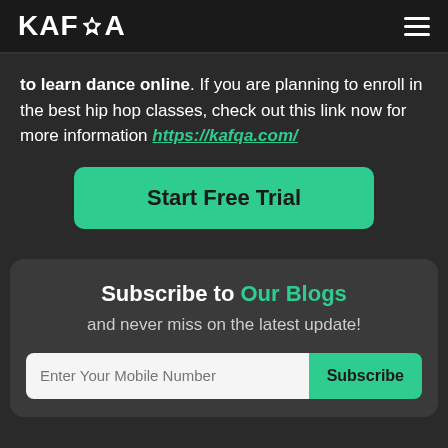KAFQA
to learn dance online. If you are planning to enroll in the best hip hop classes, check out this link now for more information https://kafqa.com/
[Figure (other): Start Free Trial button — teal/green rounded rectangle button with bold black text]
Subscribe to Our Blogs and never miss on the latest update!
Enter Your Mobile Number  Subscribe